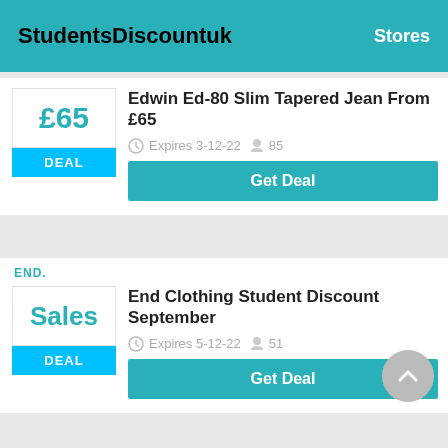StudentsDiscountuk   Stores
£65
DEAL
Edwin Ed-80 Slim Tapered Jean From £65
Expires 3-12-22  85
Get Deal
END.
Sales
DEAL
End Clothing Student Discount September
Expires 5-12-22  51
Get Deal